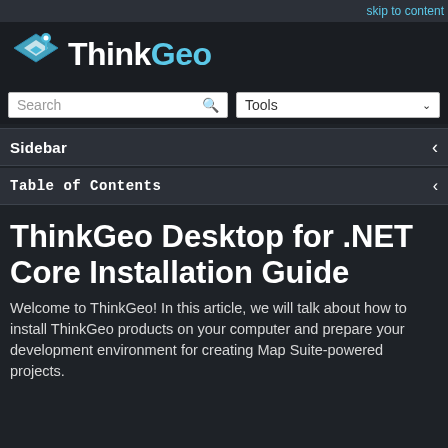skip to content
[Figure (logo): ThinkGeo logo with map pin icon and diamond grid graphic in blue and white]
Search   Tools
Sidebar
Table of Contents
ThinkGeo Desktop for .NET Core Installation Guide
Welcome to ThinkGeo! In this article, we will talk about how to install ThinkGeo products on your computer and prepare your development environment for creating Map Suite-powered projects.